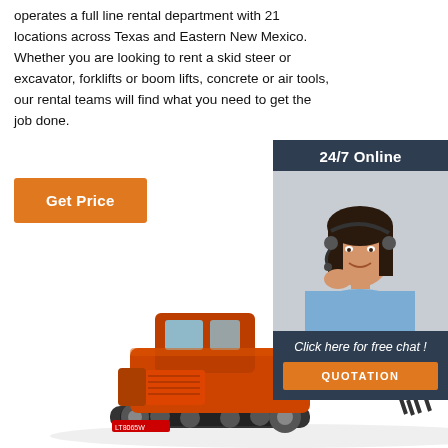operates a full line rental department with 21 locations across Texas and Eastern New Mexico. Whether you are looking to rent a skid steer or excavator, forklifts or boom lifts, concrete or air tools, our rental teams will find what you need to get the job done.
Get Price
[Figure (infographic): 24/7 Online chat widget with woman wearing headset and 'Click here for free chat!' text and orange QUOTATION button]
[Figure (photo): Orange excavator construction machine photographed from the side]